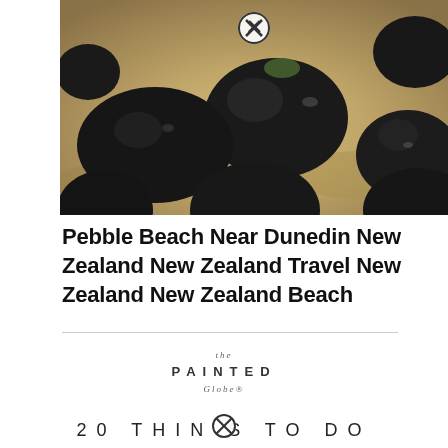[Figure (photo): Close-up photograph of large dark smooth black pebble/boulder rocks on sandy beach near Dunedin, New Zealand. Rocks are wet and shiny, lying on golden-brown sand.]
Pebble Beach Near Dunedin New Zealand New Zealand Travel New Zealand New Zealand Beach
[Figure (logo): The Painted Globe logo — text reads 'the PAINTED Globe®' in stacked arrangement]
20 THINGS TO DO